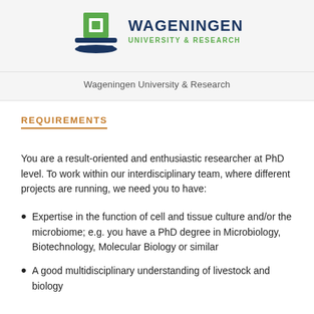[Figure (logo): Wageningen University & Research logo with green building icon and dark blue/green text]
Wageningen University & Research
REQUIREMENTS
You are a result-oriented and enthusiastic researcher at PhD level. To work within our interdisciplinary team, where different projects are running, we need you to have:
Expertise in the function of cell and tissue culture and/or the microbiome; e.g. you have a PhD degree in Microbiology, Biotechnology, Molecular Biology or similar
A good multidisciplinary understanding of livestock and biology